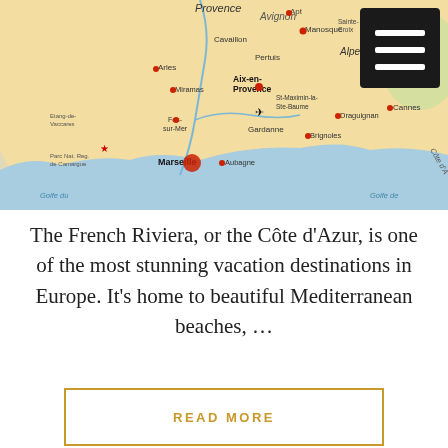[Figure (map): Map of Provence and Côte d'Azur region in southern France showing cities including Avignon, Apt, Manosque, Sainte-Croix, Vence, Grasse, Cannes, Draguignan, Brignoles, Aubagne, Marseille, Gardanne, Aix-en-Provence, Miramas, Arles, Cavaillon, Pertuis, Fos-sur-Mer, Parc Nat. Reg. de Camargue, and Etang-de-Vaccares. Two airplane symbols and multiple red location markers. A hamburger menu icon is visible in the top-right corner.]
The French Riviera, or the Côte d'Azur, is one of the most stunning vacation destinations in Europe. It's home to beautiful Mediterranean beaches, …
READ MORE